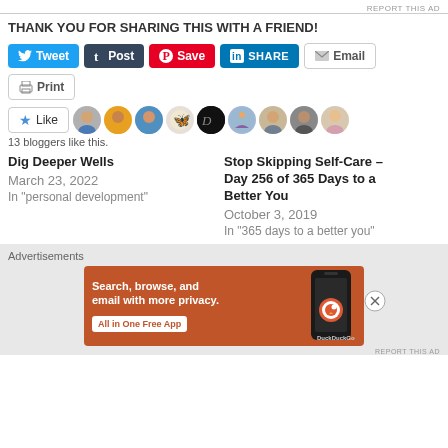REPORT THIS AD
THANK YOU FOR SHARING THIS WITH A FRIEND!
[Figure (screenshot): Social media share buttons: Tweet, Post, Save, SHARE, Email, Print]
[Figure (screenshot): Like button and row of 9 blogger avatar thumbnails]
13 bloggers like this.
Dig Deeper Wells
March 23, 2022
In "personal development"
Stop Skipping Self-Care – Day 256 of 365 Days to a Better You
October 3, 2019
In "365 days to a better you"
Advertisements
[Figure (screenshot): DuckDuckGo advertisement banner: Search, browse, and email with more privacy. All in One Free App]